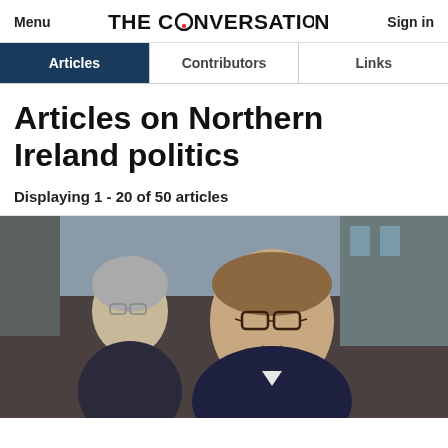Menu | THE CONVERSATION | Sign in
Articles | Contributors | Links
Articles on Northern Ireland politics
Displaying 1 - 20 of 50 articles
[Figure (photo): A man wearing glasses and a suit speaking, with another person with grey hair visible behind him to the left. Appears to be taken outside a building.]